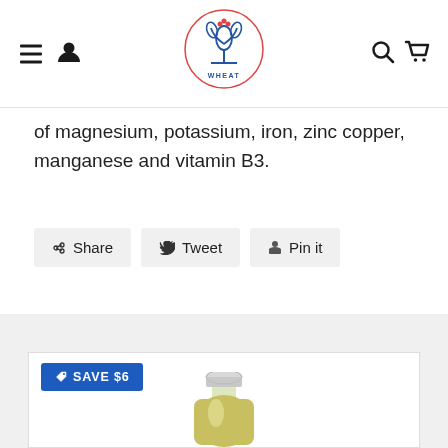Wheat logo website header with navigation icons
of magnesium, potassium, iron, zinc copper, manganese and vitamin B3.
Share
Tweet
Pin it
You may also like
Customers who bought this item also bought
[Figure (photo): Product bottle with white cap containing a yellow-green liquid, with a SAVE $6 badge in blue]
SAVE $6